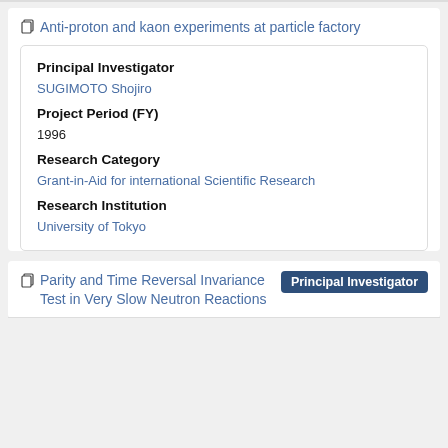Anti-proton and kaon experiments at particle factory
Principal Investigator
SUGIMOTO Shojiro
Project Period (FY)
1996
Research Category
Grant-in-Aid for international Scientific Research
Research Institution
University of Tokyo
Parity and Time Reversal Invariance Test in Very Slow Neutron Reactions
Principal Investigator